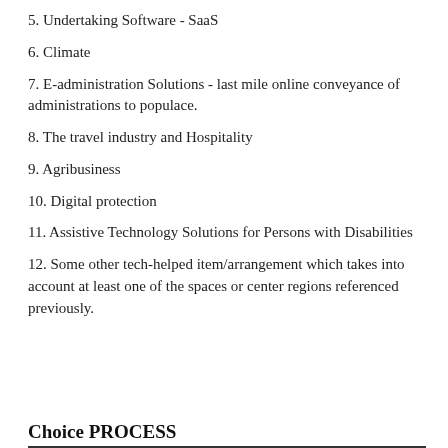5. Undertaking Software - SaaS
6. Climate
7. E-administration Solutions - last mile online conveyance of administrations to populace.
8. The travel industry and Hospitality
9. Agribusiness
10. Digital protection
11. Assistive Technology Solutions for Persons with Disabilities
12. Some other tech-helped item/arrangement which takes into account at least one of the spaces or center regions referenced previously.
Choice PROCESS